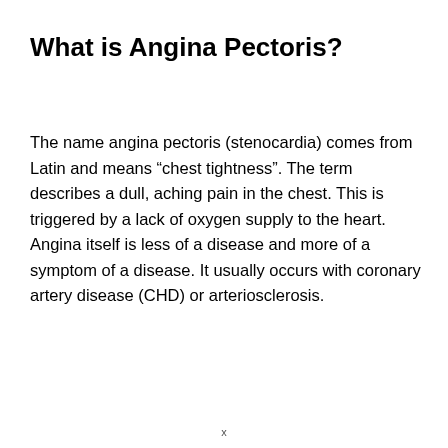What is Angina Pectoris?
The name angina pectoris (stenocardia) comes from Latin and means “chest tightness”. The term describes a dull, aching pain in the chest. This is triggered by a lack of oxygen supply to the heart. Angina itself is less of a disease and more of a symptom of a disease. It usually occurs with coronary artery disease (CHD) or arteriosclerosis.
x